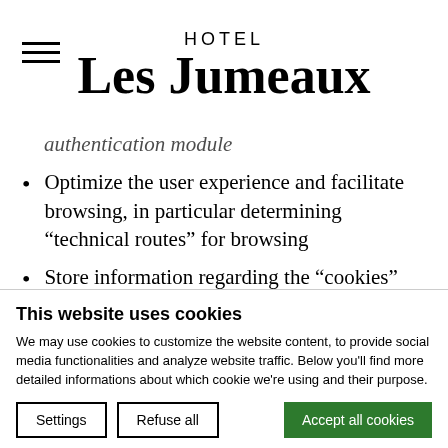HOTEL Les Jumeaux
authentication module
Optimize the user experience and facilitate browsing, in particular determining “technical routes” for browsing
Store information regarding the “cookies” information banner seen by website visitors who then continue to browse the website after agreeing to accept cookies on their device
This website uses cookies
We may use cookies to customize the website content, to provide social media functionalities and analyze website traffic. Below you’ll find more detailed informations about which cookie we’re using and their purpose.
Settings | Refuse all | Accept all cookies